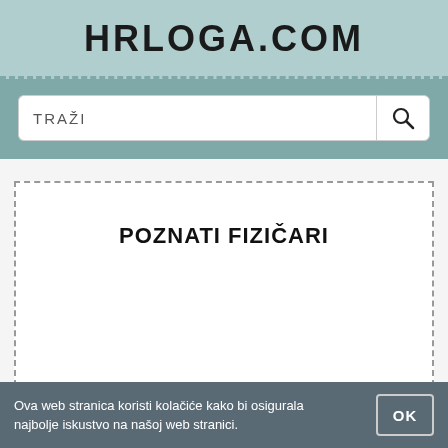HRLOGA.COM
TRAŽI
[Figure (screenshot): Dashed border box with bold heading POZNATI FIZIČARI centered inside]
POZNATI FIZIČARI
Ova web stranica koristi kolačiće kako bi osigurala najbolje iskustvo na našoj web stranici.